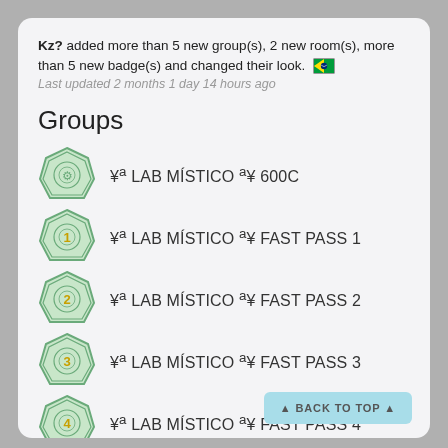Kz? added more than 5 new group(s), 2 new room(s), more than 5 new badge(s) and changed their look.
Last updated 2 months 1 day 14 hours ago
Groups
¥ª LAB MÍSTICO ª¥ 600C
¥ª LAB MÍSTICO ª¥ FAST PASS 1
¥ª LAB MÍSTICO ª¥ FAST PASS 2
¥ª LAB MÍSTICO ª¥ FAST PASS 3
¥ª LAB MÍSTICO ª¥ FAST PASS 4
¥ª LAB MÍSTICO ª¥ FAST PASS 5